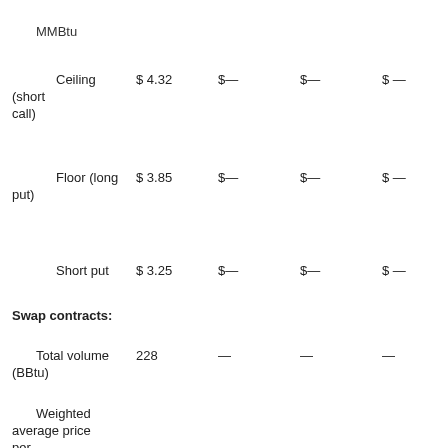MMBtu
|  | Col1 | Col2 | Col3 | Col4 | Col5 |
| --- | --- | --- | --- | --- | --- |
| Ceiling (short call) | $ 4.32 | $— | $— | $ — | $ — |
| Floor (long put) | $ 3.85 | $— | $— | $ — | $ — |
| Short put | $ 3.25 | $— | $— | $ — | $ — |
Swap contracts:
|  | Col1 | Col2 | Col3 | Col4 | Col5 |
| --- | --- | --- | --- | --- | --- |
| Total volume (BBtu) | 228 | — | — | — | — |
| Weighted average price per |  |  |  |  |  |